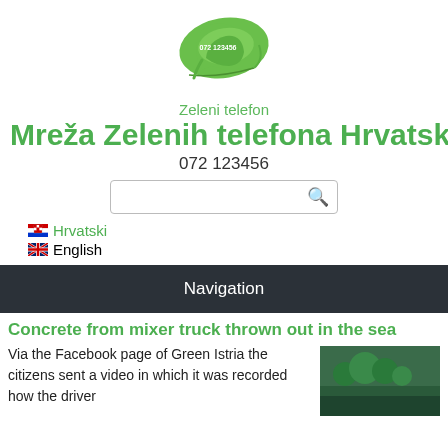[Figure (logo): Green telephone logo with leaf shape and number 072 123456, with text 'Zeleni telefon' below]
Mreža Zelenih telefona Hrvatske
072 123456
[Figure (other): Search bar with magnifying glass icon]
Hrvatski
English
Navigation
Concrete from mixer truck thrown out in the sea
Via the Facebook page of Green Istria the citizens sent a video in which it was recorded how the driver
[Figure (photo): Thumbnail photo related to the article about concrete mixer truck]